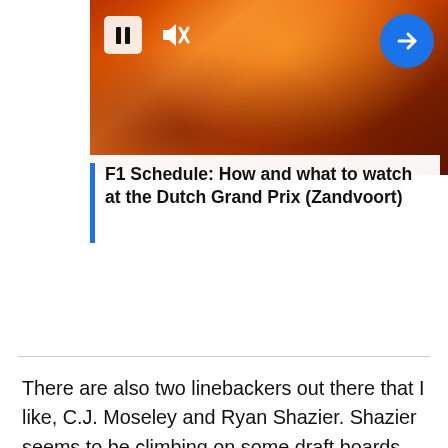[Figure (screenshot): Video thumbnail showing a crowd of people in orange colors with media player controls (pause button, mute button, arrow button) overlaid. Below the image is a caption with a blue left border reading 'F1 Schedule: How and what to watch at the Dutch Grand Prix (Zandvoort)']
There are also two linebackers out there that I like, C.J. Moseley and Ryan Shazier. Shazier seems to be climbing on some draft boards, while Moseley seems to be falling a bit. Moseley isn't Khalil Mack, but is still an immediate upgrade at LB. Shazier might seem like a reach right now, But I still see him moving up, and by draft day it's not inconceivable to see him as a top ten guy.
But there's one name that just jumps out at you as a